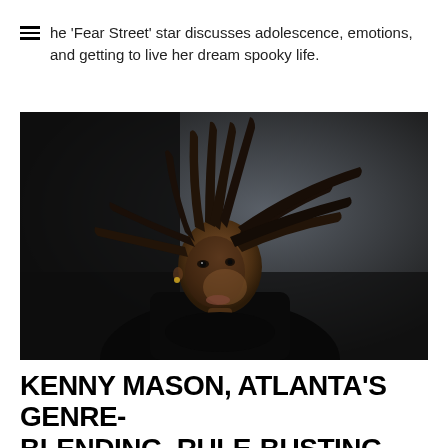The 'Fear Street' star discusses adolescence, emotions, and getting to live her dream spooky life.
[Figure (photo): Dark, moody portrait photograph of Kenny Mason, an Atlanta rapper, with long dreadlocks flying, shot against a dark grey background, looking intensely at the camera.]
KENNY MASON, ATLANTA'S GENRE-BLENDING, RULE-BUSTING ALTERNATIVE RAPPER WHO'S